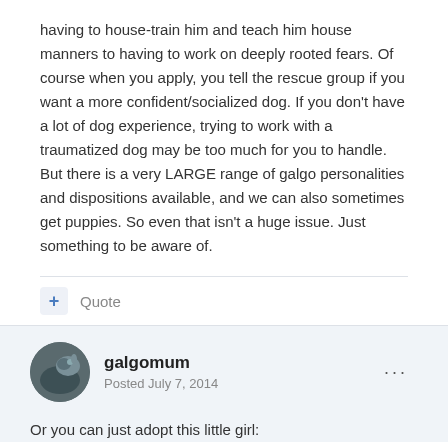having to house-train him and teach him house manners to having to work on deeply rooted fears. Of course when you apply, you tell the rescue group if you want a more confident/socialized dog. If you don't have a lot of dog experience, trying to work with a traumatized dog may be too much for you to handle. But there is a very LARGE range of galgo personalities and dispositions available, and we can also sometimes get puppies. So even that isn't a huge issue. Just something to be aware of.
Quote
galgomum
Posted July 7, 2014
Or you can just adopt this little girl: